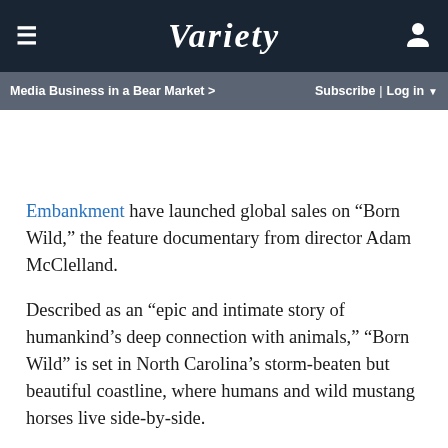VARIETY — Menu | Subscribe | Log in
Media Business in a Bear Market >
Embankment have launched global sales on “Born Wild,” the feature documentary from director Adam McClelland.
Described as an “epic and intimate story of humankind’s deep connection with animals,” “Born Wild” is set in North Carolina’s storm-beaten but beautiful coastline, where humans and wild mustang horses live side-by-side.
The horses have existed there since the first colonies but now are fighting for survival.
“These two dwindling groups of survivors must learn from and